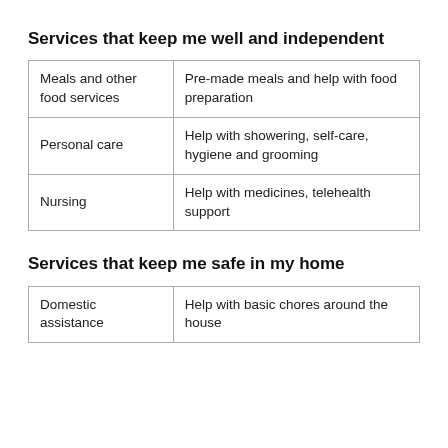Services that keep me well and independent
| Meals and other food services | Pre-made meals and help with food preparation |
| Personal care | Help with showering, self-care, hygiene and grooming |
| Nursing | Help with medicines, telehealth support |
Services that keep me safe in my home
| Domestic assistance | Help with basic chores around the house |